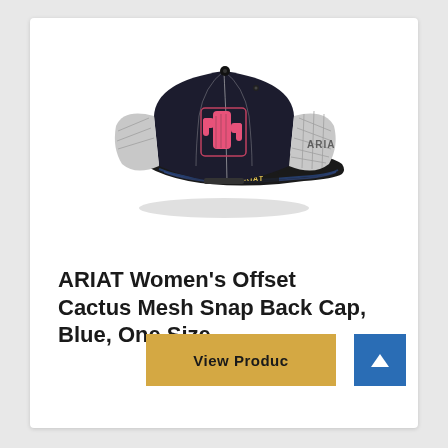[Figure (photo): ARIAT branded navy blue and grey mesh snapback trucker cap with pink cactus embroidered patch on front panel and ARIAT logo on side mesh panel]
ARIAT Women's Offset Cactus Mesh Snap Back Cap, Blue, One Size
View Product